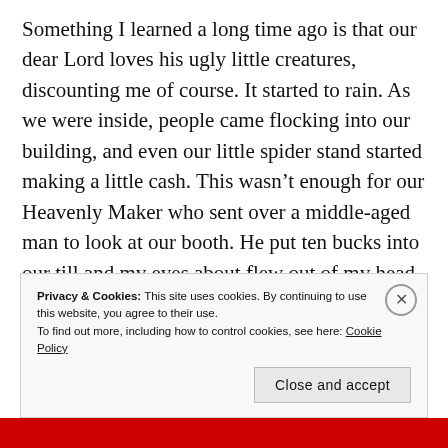Something I learned a long time ago is that our dear Lord loves his ugly little creatures, discounting me of course. It started to rain. As we were inside, people came flocking into our building, and even our little spider stand started making a little cash. This wasn't enough for our Heavenly Maker who sent over a middle-aged man to look at our booth. He put ten bucks into our till and my eyes about flew out of my head.

When I asked why, he informed me that he was a
Privacy & Cookies: This site uses cookies. By continuing to use this website, you agree to their use.
To find out more, including how to control cookies, see here: Cookie Policy
Close and accept